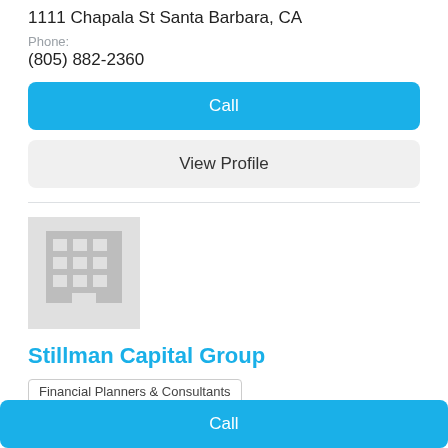1111 Chapala St Santa Barbara, CA
Phone:
(805) 882-2360
Call
View Profile
[Figure (illustration): Building/office placeholder icon in gray]
Stillman Capital Group
Financial Planners & Consultants
Address:
1201 E Ocean Ave Lompoc, CA
Phone:
(805) 430-8993
Call